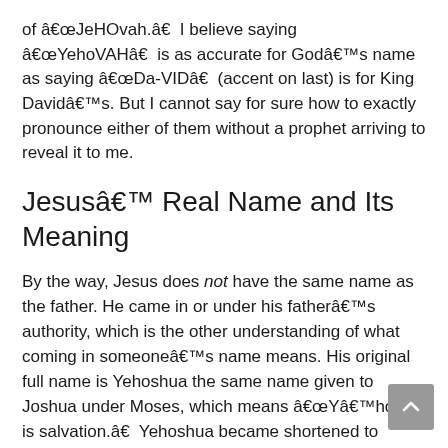of â€œJeHOvah.â€​  I believe saying â€œYehoVAHâ€​  is as accurate for Godâ€™s name as saying â€œDa-VIDâ€​  (accent on last) is for King Davidâ€™s. But I cannot say for sure how to exactly pronounce either of them without a prophet arriving to reveal it to me.
Jesusâ€™ Real Name and Its Meaning
By the way, Jesus does not have the same name as the father. He came in or under his fatherâ€™s authority, which is the other understanding of what coming in someoneâ€™s name means. His original full name is Yehoshua the same name given to Joshua under Moses, which means â€œYâ€™hovah is salvation.â€​  Yehoshua became shortened to Yâ€™shua due to the Jewish ban on saying the name of God which Yehoshua contains 3/4 of...